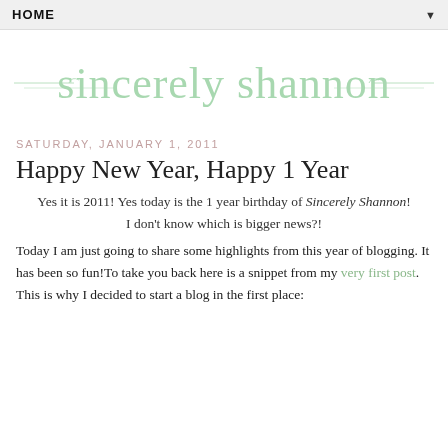HOME ▼
[Figure (illustration): Sincerely Shannon blog logo in mint green cursive script with decorative flourish lines on either side]
SATURDAY, JANUARY 1, 2011
Happy New Year, Happy 1 Year
Yes it is 2011! Yes today is the 1 year birthday of Sincerely Shannon! I don't know which is bigger news?!
Today I am just going to share some highlights from this year of blogging. It has been so fun!To take you back here is a snippet from my very first post. This is why I decided to start a blog in the first place: